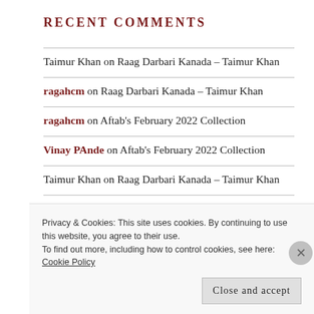RECENT COMMENTS
Taimur Khan on Raag Darbari Kanada – Taimur Khan
ragahcm on Raag Darbari Kanada – Taimur Khan
ragahcm on Aftab's February 2022 Collection
Vinay PAnde on Aftab's February 2022 Collection
Taimur Khan on Raag Darbari Kanada – Taimur Khan
Surinder Chowdhury on Raag Darbari Kanada – Taimur Khan
Akbar Khan on Aftab's Summer 2020 Collection
Privacy & Cookies: This site uses cookies. By continuing to use this website, you agree to their use.
To find out more, including how to control cookies, see here: Cookie Policy
Close and accept